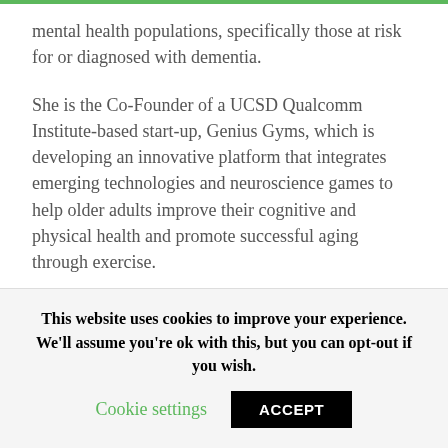mental health populations, specifically those at risk for or diagnosed with dementia.
She is the Co-Founder of a UCSD Qualcomm Institute-based start-up, Genius Gyms, which is developing an innovative platform that integrates emerging technologies and neuroscience games to help older adults improve their cognitive and physical health and promote successful aging through exercise.
She currently serves as the Director of Research and programming of the Brain Health Center at the Pacific Neuroscience Institute in Santa Monica, CA, and works with
This website uses cookies to improve your experience. We'll assume you're ok with this, but you can opt-out if you wish.
Cookie settings
ACCEPT